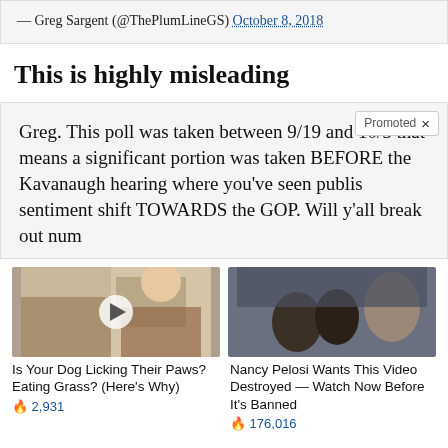— Greg Sargent (@ThePlumLineGS) October 8, 2018
This is highly misleading
Greg. This poll was taken between 9/19 and 10/5 that means a significant portion was taken BEFORE the Kavanaugh hearing where you've seen publis sentiment shift TOWARDS the GOP. Will y'all break out num
[Figure (photo): Woman in kitchen reaching up to a shelf, with a video play button overlay]
[Figure (photo): Three people in formal setting, appears to be Obama, Biden, and Pelosi]
Is Your Dog Licking Their Paws? Eating Grass? (Here's Why)
🔥 2,931
Nancy Pelosi Wants This Video Destroyed — Watch Now Before It's Banned
🔥 176,016